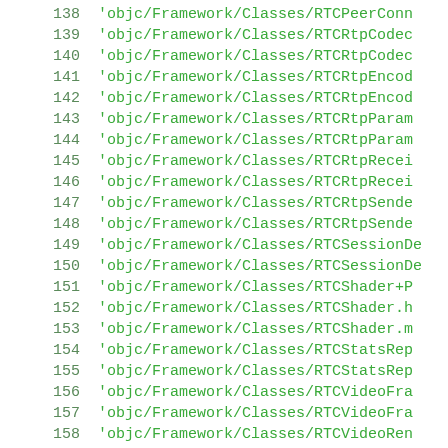138  'objc/Framework/Classes/RTCPeerConn
139  'objc/Framework/Classes/RTCRtpCodec
140  'objc/Framework/Classes/RTCRtpCodec
141  'objc/Framework/Classes/RTCRtpEncod
142  'objc/Framework/Classes/RTCRtpEncod
143  'objc/Framework/Classes/RTCRtpParam
144  'objc/Framework/Classes/RTCRtpParam
145  'objc/Framework/Classes/RTCRtpRecei
146  'objc/Framework/Classes/RTCRtpRecei
147  'objc/Framework/Classes/RTCRtpSende
148  'objc/Framework/Classes/RTCRtpSende
149  'objc/Framework/Classes/RTCSessionD
150  'objc/Framework/Classes/RTCSessionD
151  'objc/Framework/Classes/RTCShader+P
152  'objc/Framework/Classes/RTCShader.h
153  'objc/Framework/Classes/RTCShader.m
154  'objc/Framework/Classes/RTCStatsRep
155  'objc/Framework/Classes/RTCStatsRep
156  'objc/Framework/Classes/RTCVideoFra
157  'objc/Framework/Classes/RTCVideoFra
158  'objc/Framework/Classes/RTCVideoRen
159  'objc/Framework/Classes/RTCVideoRen